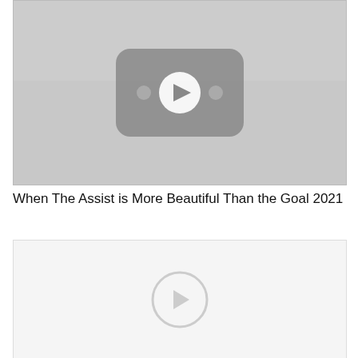[Figure (screenshot): YouTube-style video thumbnail placeholder with dark gray rounded-rectangle play button icon on a light gray background]
When The Assist is More Beautiful Than the Goal 2021
[Figure (screenshot): Second YouTube-style video thumbnail placeholder, lighter background with faint circular play button icon]